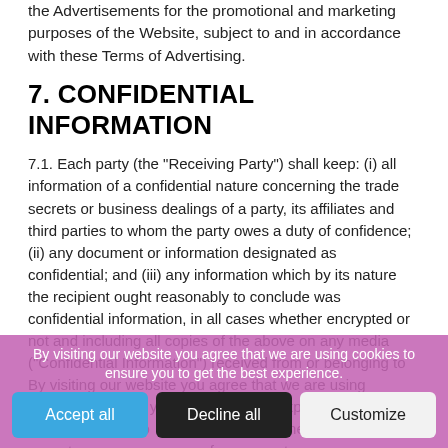the Advertisements for the promotional and marketing purposes of the Website, subject to and in accordance with these Terms of Advertising.
7. CONFIDENTIAL INFORMATION
7.1. Each party (the "Receiving Party") shall keep: (i) all information of a confidential nature concerning the trade secrets or business dealings of a party, its affiliates and third parties to whom the party owes a duty of confidence; (ii) any document or information designated as confidential; and (iii) any information which by its nature the recipient ought reasonably to conclude was confidential information, in all cases whether encrypted or not and including all copies of the above on any media ("Confidential Information") received from or belonging to By visiting our website you agree that we are using cookies to ensure you to get the best experience. shall not:
* 7.1.1. di                    o                    r                        one except                         e                    f                        ctors
By visiting our website you agree that we are using cookies to ensure you to get the best experience.